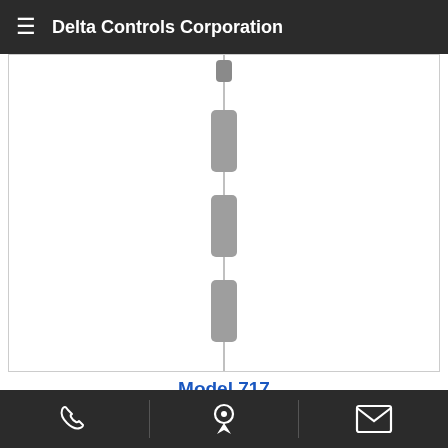Delta Controls Corporation
[Figure (photo): Vertical displacer switch product image showing a series of four cylindrical grey displacer elements on a thin rod/cable against a white background]
Model 717
Displacer Switch, Top Inserted, Three Point
Learn More »
Phone | Location | Email icons